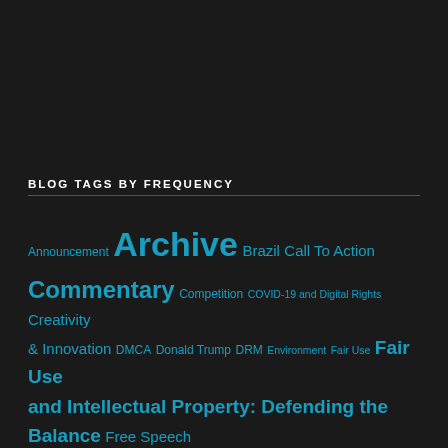BLOG TAGS BY FREQUENCY
[Figure (infographic): Word cloud / tag cloud showing blog tags sized by frequency. Tags include: Announcement, Archive (largest), Brazil, Call To Action, Commentary (very large), Competition, COVID-19 and Digital Rights, Creativity & Innovation, DMCA, Donald Trump, DRM, Environment, Fair Use, Fair Use and Intellectual Property: Defending the Balance, Free Speech, Glenn Greenwald, Greenwald, Innovation, International, Justice, Legal Analysis, Legislative Analysis, Locational Privacy, Media critique, National Security, Net Neutrality, News Update, NSA Spying, Patents, Patent Trolls, Politics, Privacy, Robert Mackey, Section 230 of the Communications Decency Act, Security, Security Education, Social Networks, Street-Level Surveillance, Surveillance and Human Rights, Technology, Transparency, Uncategorized, Unofficial Sources, Uproxx, World]